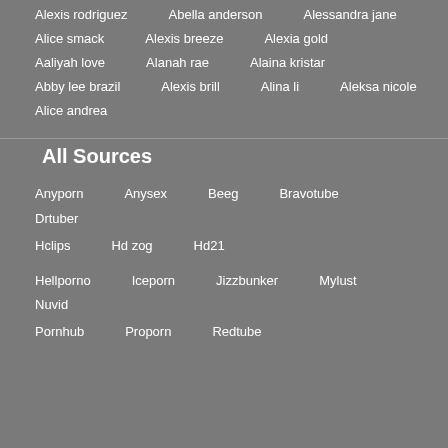Alexis rodriguez, Abella anderson, Alessandra jane
Alice smack, Alexis breeze, Alexia gold
Aaliyah love, Alanah rae, Alaina kristar
Abby lee brazil, Alexis brill, Alina li, Aleksa nicole
Alice andrea
All Sources
Anyporn, Anysex, Beeg, Bravotube, Drtuber
Hclips, Hd zog, Hd21
Hellporno, Iceporn, Jizzbunker, Mylust, Nuvid
Pornhub, Proporn, Redtube